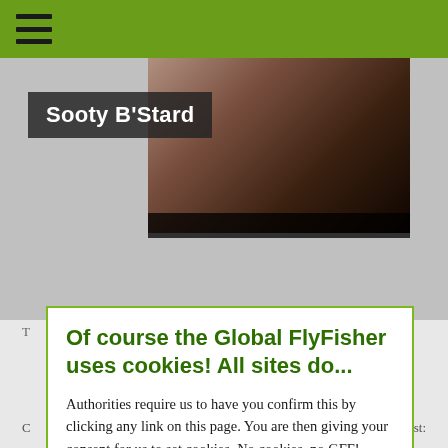Sooty B'Stard
[Figure (photo): Dark close-up photo of what appears to be a fly fishing lure or hook in dark tones]
T
Of course the Global FlyFisher uses cookies! All sites do...
Authorities require us to have you confirm this by clicking any link on this page. You are then giving your consent for us to set cookies. No cookies, no GFF!
More about privacy and cookies
OK, I agree
ist: